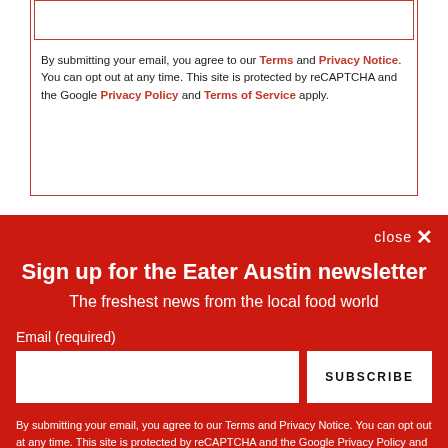By submitting your email, you agree to our Terms and Privacy Notice. You can opt out at any time. This site is protected by reCAPTCHA and the Google Privacy Policy and Terms of Service apply.
SUBSCRIBE
Sign up for the Eater Austin newsletter
The freshest news from the local food world
Email (required)
SUBSCRIBE
By submitting your email, you agree to our Terms and Privacy Notice. You can opt out at any time. This site is protected by reCAPTCHA and the Google Privacy Policy and Terms of Service apply.